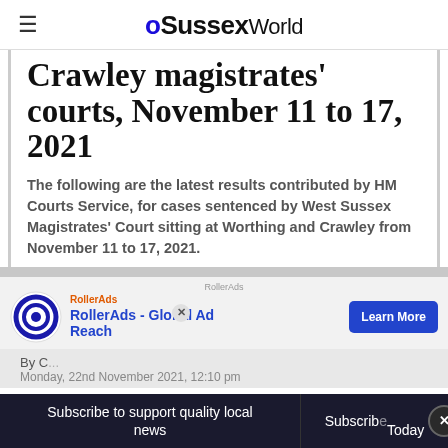oSussexWorld
Crawley magistrates' courts, November 11 to 17, 2021
The following are the latest results contributed by HM Courts Service, for cases sentenced by West Sussex Magistrates' Court sitting at Worthing and Crawley from November 11 to 17, 2021.
[Figure (other): RollerAds advertisement banner with circular logo, headline 'RollerAds - Global Ad Reach', and 'Learn More' button]
By C... Monday, 22nd November 2021, 12:10 pm
Subscribe to support quality local news | Subscribe Today